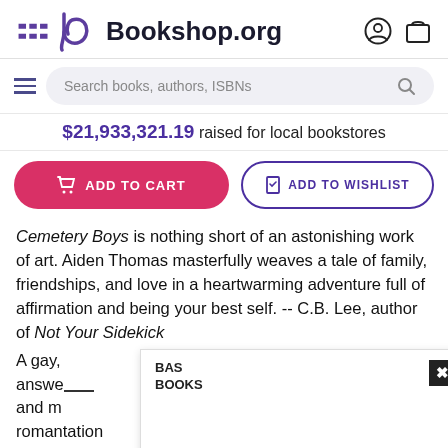Bookshop.org
$21,933,321.19 raised for local bookstores
ADD TO CART | ADD TO WISHLIST
Cemetery Boys is nothing short of an astonishing work of art. Aiden Thomas masterfully weaves a tale of family, friendships, and love in a heartwarming adventure full of affirmation and being your best self. -- C.B. Lee, author of Not Your Sidekick
A gay, [...]seeks answe[...]nce and my[...]heir roman[...]tation